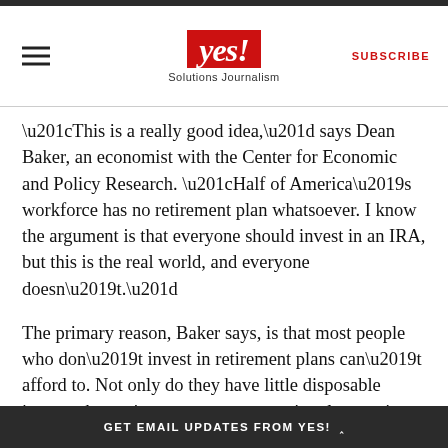yes! Solutions Journalism | SUBSCRIBE
“This is a really good idea,” says Dean Baker, an economist with the Center for Economic and Policy Research. “Half of America’s workforce has no retirement plan whatsoever. I know the argument is that everyone should invest in an IRA, but this is the real world, and everyone doesn’t.”
The primary reason, Baker says, is that most people who don’t invest in retirement plans can’t afford to. Not only do they have little disposable income, but retirement accounts can involve service fees of up to 3 percent.
The percentage might sound small, but extended over the course of a career, it can add up to tens of
GET EMAIL UPDATES FROM YES! ˄